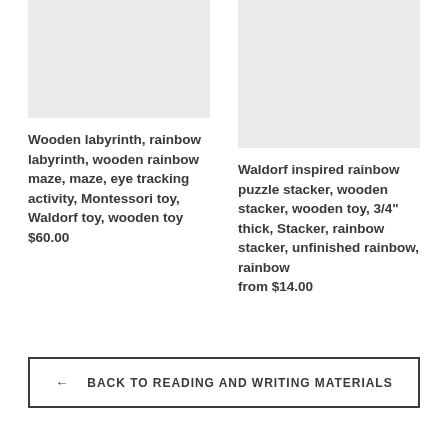[Figure (photo): Product image placeholder for wooden labyrinth toy - light gray rectangle]
Wooden labyrinth, rainbow labyrinth, wooden rainbow maze, maze, eye tracking activity, Montessori toy, Waldorf toy, wooden toy
$60.00
[Figure (photo): Product image placeholder for Waldorf rainbow puzzle stacker - light gray rectangle]
Waldorf inspired rainbow puzzle stacker, wooden stacker, wooden toy, 3/4" thick, Stacker, rainbow stacker, unfinished rainbow, rainbow
from $14.00
← BACK TO READING AND WRITING MATERIALS